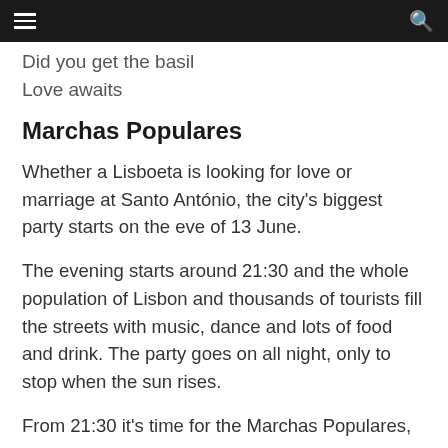Did you get the basil
Love awaits
Marchas Populares
Whether a Lisboeta is looking for love or marriage at Santo António, the city's biggest party starts on the eve of 13 June.
The evening starts around 21:30 and the whole population of Lisbon and thousands of tourists fill the streets with music, dance and lots of food and drink. The party goes on all night, only to stop when the sun rises.
From 21:30 it's time for the Marchas Populares, a